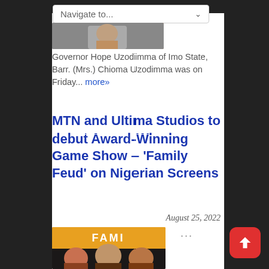Navigate to...
[Figure (photo): Partial image of people at top of article]
Governor Hope Uzodimma of Imo State, Barr. (Mrs.) Chioma Uzodimma was on Friday... more»
MTN and Ultima Studios to debut Award-Winning Game Show – 'Family Feud' on Nigerian Screens
August 25, 2022
...
[Figure (photo): Three women standing in front of a Family Feud stage backdrop]